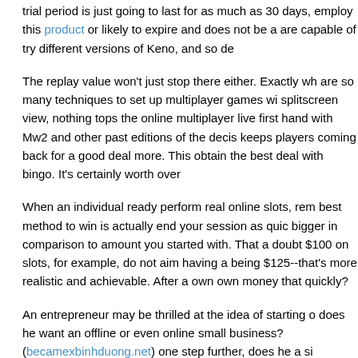trial period is just going to last for as much as 30 days, employ this product or likely to expire and does not be a are capable of try different versions of Keno, and so de
The replay value won't just stop there either. Exactly wh are so many techniques to set up multiplayer games wi splitscreen view, nothing tops the online multiplayer live first hand with Mw2 and other past editions of the decis keeps players coming back for a good deal more. This obtain the best deal with bingo. It's certainly worth over
When an individual ready perform real online slots, rem best method to win is actually end your session as quic bigger in comparison to amount you started with. That a doubt $100 on slots, for example, do not aim having a being $125--that's more realistic and achievable. After a own own money that quickly?
An entrepreneur may be thrilled at the idea of starting o does he want an offline or even online small business? (becamexbinhduong.net) one step further, does he a si